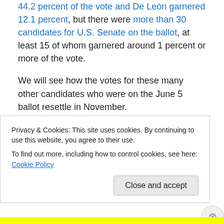44.2 percent of the vote and De León garnered 12.1 percent, but there were more than 30 candidates for U.S. Senate on the ballot, at least 15 of whom garnered around 1 percent or more of the vote.
We will see how the votes for these many other candidates who were on the June 5 ballot resettle in November.
It's true that Cryptkeeper has an advantage. She's been around since dirt, so she's well-known in California, and she is a multi-millionaire, so money is no object for her.
Privacy & Cookies: This site uses cookies. By continuing to use this website, you agree to their use.
To find out more, including how to control cookies, see here: Cookie Policy